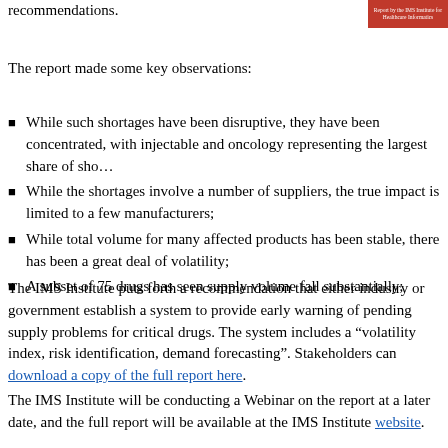recommendations.
[Figure (logo): IMS Institute logo/report badge in red]
The report made some key observations:
While such shortages have been disruptive, they have been concentrated, with injectable and oncology representing the largest share of shortages;
While the shortages involve a number of suppliers, the true impact is limited to a few manufacturers;
While total volume for many affected products has been stable, there has been a great deal of volatility;
A subset of 75 drugs has seen supply volume fall substantially;
The IMS Institute puts forth a recommendation that either industry or government establish a system to provide early warning of pending supply problems for critical drugs. The system includes a “volatility index, risk identification, demand forecasting”. Stakeholders can download a copy of the full report here.
The IMS Institute will be conducting a Webinar on the report at a later date, and the full report will be available at the IMS Institute website.